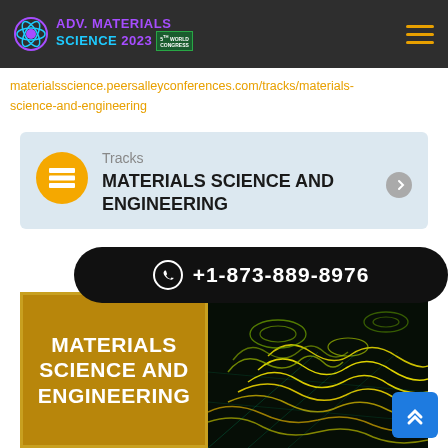ADV. MATERIALS SCIENCE 2023
materialsscience.peersalleyconferences.com/tracks/materials-science-and-engineering
[Figure (infographic): Tracks card with icon, label 'Tracks', title 'MATERIALS SCIENCE AND ENGINEERING']
+1-873-889-8976
[Figure (infographic): Materials Science and Engineering conference promotional image: left side gold background with white bold text 'MATERIALS SCIENCE AND ENGINEERING', right side dark background with glowing yellow topographic wave patterns]